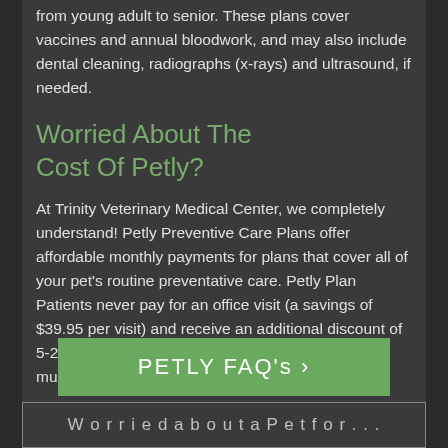from young adult to senior.  These plans cover vaccines and annual bloodwork, and may also include dental cleaning, radiographs (x-rays) and ultrasound, if needed.
Worried About The Cost Of Petly?
At Trinity Veterinary Medical Center, we completely understand!  Petly Preventive Care Plans offer affordable monthly payments for plans that cover all of your pet's routine preventative care.  Petly Plan Patients never pay for an office visit (a savings of $39.95 per visit) and receive an additional discount of 5-20% for services, depending on the plan level.  A multi-pet discount may apply.
PETLY FAQ's ›
W...